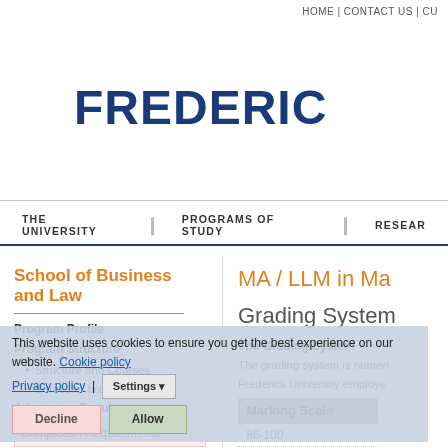HOME | CONTACT US | CU
[Figure (logo): Frederick University circular logo with stylized torch/obelisk in blue and grey]
FREDERIC
THE UNIVERSITY | PROGRAMS OF STUDY | RESEAR
School of Business and Law
Program Profile
Program Structure
Structure and Courses
Semester breakdown
Admission Requirements
Completion Requirements
Why Trade and Shipping Education? Why at Frederick?
MA / LLM in Ma
Grading System
The Grading System
The grading system is numeri
Frederick University employs
| Marking Scale |
| --- |
| 86-100 |
This website uses cookies to ensure you get the best experience on our website. Cookie policy
Privacy policy | Settings | Decline | Allow